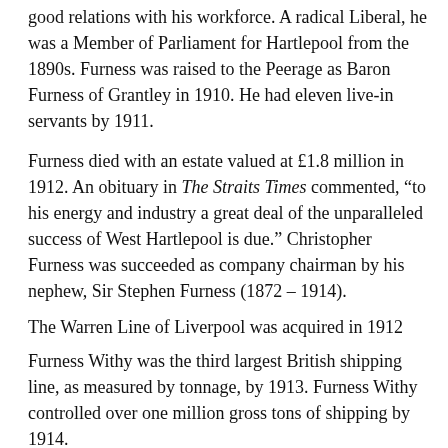good relations with his workforce. A radical Liberal, he was a Member of Parliament for Hartlepool from the 1890s. Furness was raised to the Peerage as Baron Furness of Grantley in 1910. He had eleven live-in servants by 1911.
Furness died with an estate valued at £1.8 million in 1912. An obituary in The Straits Times commented, “to his energy and industry a great deal of the unparalleled success of West Hartlepool is due.” Christopher Furness was succeeded as company chairman by his nephew, Sir Stephen Furness (1872 – 1914).
The Warren Line of Liverpool was acquired in 1912
Furness Withy was the third largest British shipping line, as measured by tonnage, by 1913. Furness Withy controlled over one million gross tons of shipping by 1914.